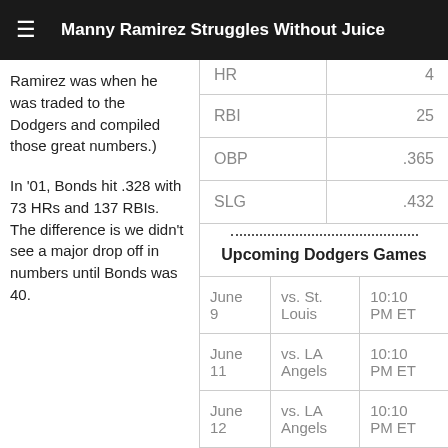Manny Ramirez Struggles Without Juice
Ramirez was when he was traded to the Dodgers and compiled those great numbers.)
In '01, Bonds hit .328 with 73 HRs and 137 RBIs. The difference is we didn't see a major drop off in numbers until Bonds was 40.
| Stat | Value |
| --- | --- |
| HR | 4 |
| RBI | 25 |
| OBP | .365 |
| SLG | .432 |
Upcoming Dodgers Games
| Date | Opponent | Time |
| --- | --- | --- |
| June 9 | vs. St. Louis | 10:10 PM ET |
| June 11 | vs. LA Angels | 10:10 PM ET |
| June 12 | vs. LA Angels | 10:10 PM ET |